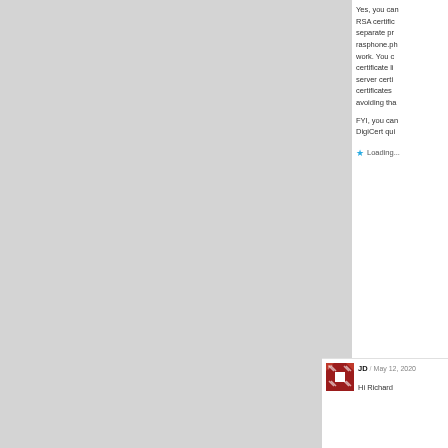Yes, you can get RSA certificates on separate private rasphone.ph work. You can certificate like server certificates avoiding tha
FYI, you can DigiCert qui
Loading...
[Figure (logo): JD user avatar - red square pattern with arrow/chevron design]
JD / May 12, 2020
Hi Richard